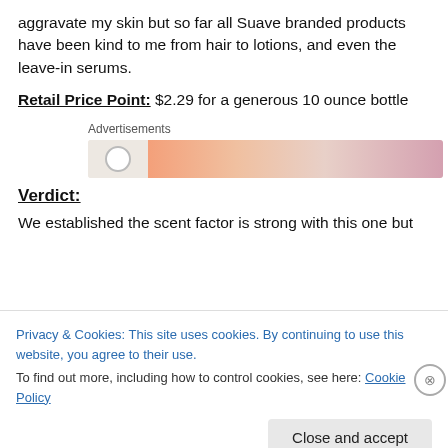aggravate my skin but so far all Suave branded products have been kind to me from hair to lotions, and even the leave-in serums.
Retail Price Point: $2.29 for a generous 10 ounce bottle
[Figure (other): Advertisement banner with gradient orange/pink/mauve colors and a circular loading icon on the left]
Verdict:
We established the scent factor is strong with this one but
Privacy & Cookies: This site uses cookies. By continuing to use this website, you agree to their use.
To find out more, including how to control cookies, see here: Cookie Policy
Close and accept